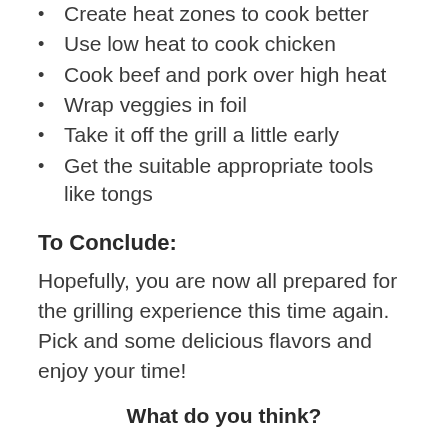Create heat zones to cook better
Use low heat to cook chicken
Cook beef and pork over high heat
Wrap veggies in foil
Take it off the grill a little early
Get the suitable appropriate tools like tongs
To Conclude:
Hopefully, you are now all prepared for the grilling experience this time again. Pick and some delicious flavors and enjoy your time!
What do you think?